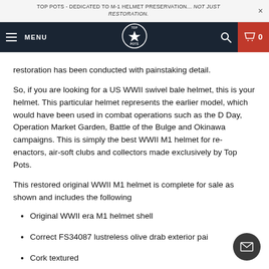TOP POTS - DEDICATED TO M-1 HELMET PRESERVATION... NOT JUST RESTORATION.
restoration has been conducted with painstaking detail.
So, if you are looking for a US WWII swivel bale helmet, this is your helmet. This particular helmet represents the earlier model, which would have been used in combat operations such as the D Day, Operation Market Garden, Battle of the Bulge and Okinawa campaigns. This is simply the best WWII M1 helmet for re-enactors, air-soft clubs and collectors made exclusively by Top Pots.
This restored original WWII M1 helmet is complete for sale as shown and includes the following
Original WWII era M1 helmet shell
Correct FS34087 lustreless olive drab exterior pai
Cork textured